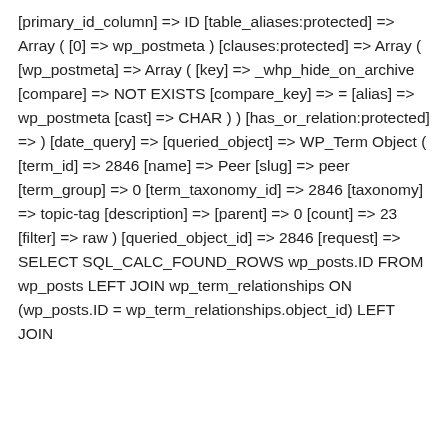[primary_id_column] => ID [table_aliases:protected] => Array ( [0] => wp_postmeta ) [clauses:protected] => Array ( [wp_postmeta] => Array ( [key] => _whp_hide_on_archive [compare] => NOT EXISTS [compare_key] => = [alias] => wp_postmeta [cast] => CHAR ) ) [has_or_relation:protected] => ) [date_query] => [queried_object] => WP_Term Object ( [term_id] => 2846 [name] => Peer [slug] => peer [term_group] => 0 [term_taxonomy_id] => 2846 [taxonomy] => topic-tag [description] => [parent] => 0 [count] => 23 [filter] => raw ) [queried_object_id] => 2846 [request] => SELECT SQL_CALC_FOUND_ROWS wp_posts.ID FROM wp_posts LEFT JOIN wp_term_relationships ON (wp_posts.ID = wp_term_relationships.object_id) LEFT JOIN